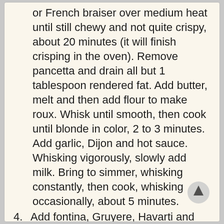or French braiser over medium heat until still chewy and not quite crispy, about 20 minutes (it will finish crisping in the oven). Remove pancetta and drain all but 1 tablespoon rendered fat. Add butter, melt and then add flour to make roux. Whisk until smooth, then cook until blonde in color, 2 to 3 minutes. Add garlic, Dijon and hot sauce. Whisking vigorously, slowly add milk. Bring to simmer, whisking constantly, then cook, whisking occasionally, about 5 minutes.
4. Add fontina, Gruyere, Havarti and blue cheese and season with salt and pepper. Mix in pasta until fully coated. Cover entire top with pancetta and bake until bubbly and gooey, 10 to 15 minutes. Sprinkle with chives and serve immediately.
5. Unbaked Gourmet Mac & Cheese can be made ahead of time and stored in the fridge. Bring to room temperature before